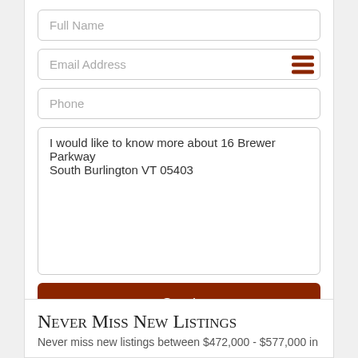Full Name
Email Address
Phone
I would like to know more about 16 Brewer Parkway South Burlington VT 05403
Send
Never Miss New Listings
Never miss new listings between $472,000 - $577,000 in